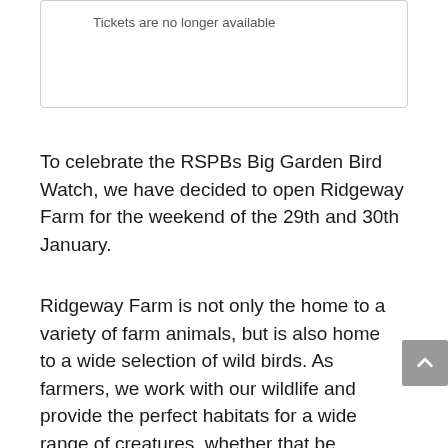Tickets are no longer available
To celebrate the RSPBs Big Garden Bird Watch, we have decided to open Ridgeway Farm for the weekend of the 29th and 30th January.
Ridgeway Farm is not only the home to a variety of farm animals, but is also home to a wide selection of wild birds. As farmers, we work with our wildlife and provide the perfect habitats for a wide range of creatures, whether that be through providing winter bird feed, from our crops and hedgerows,  or shelter in our hedges, trees and barns, or water from our ponds and other watercourses. Throughout the year we are fortunate to